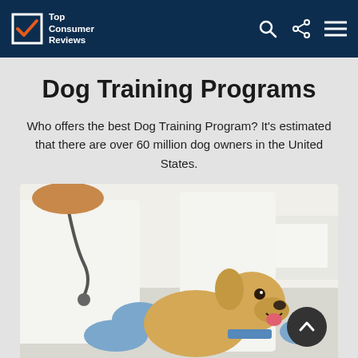Top Consumer Reviews
Dog Training Programs
Who offers the best Dog Training Program? It's estimated that there are over 60 million dog owners in the United States.
[Figure (photo): A golden retriever puppy being examined by a veterinarian wearing blue latex gloves, in a clinical setting with white walls.]